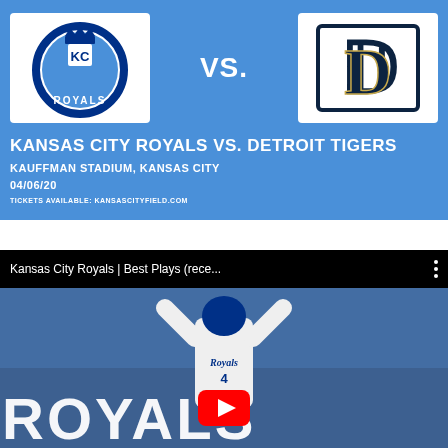[Figure (infographic): Kansas City Royals vs Detroit Tigers game advertisement. Blue background with Royals circular logo on left, 'VS.' text center, Detroit Tigers D logo on right. Includes game title, stadium, date, and ticket URL.]
KANSAS CITY ROYALS VS. DETROIT TIGERS
KAUFFMAN STADIUM, KANSAS CITY
04/06/20
TICKETS AVAILABLE: KANSASCITYFIELD.COM
[Figure (screenshot): YouTube video thumbnail for 'Kansas City Royals | Best Plays (rece...' showing a Royals player celebrating in front of crowd with large ROYALS text and YouTube play button overlay.]